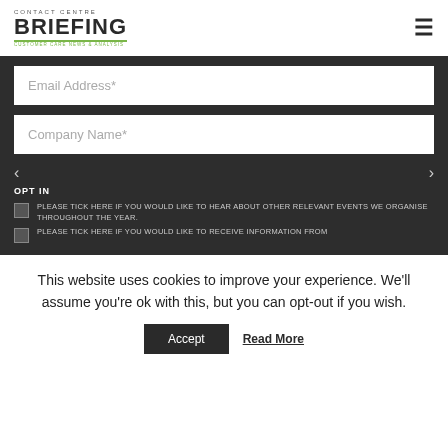Contact Centre BRIEFING
Email Address*
Company Name*
OPT IN
PLEASE TICK HERE IF YOU WOULD LIKE TO HEAR ABOUT OTHER RELEVANT EVENTS WE ORGANISE THROUGHOUT THE YEAR.
PLEASE TICK HERE IF YOU WOULD LIKE TO RECEIVE INFORMATION FROM
This website uses cookies to improve your experience. We'll assume you're ok with this, but you can opt-out if you wish.
Accept
Read More